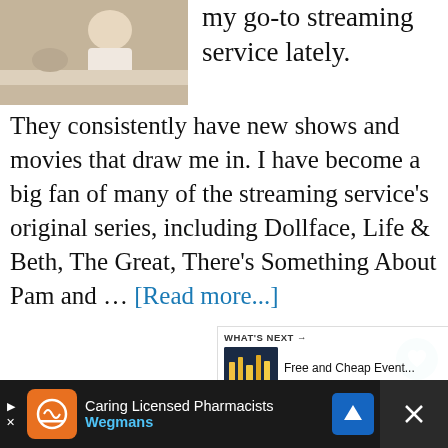[Figure (photo): Photo of person at a table, appears to be relaxing or watching something]
my go-to streaming service lately. They consistently have new shows and movies that draw me in. I have become a big fan of many of the streaming service's original series, including Dollface, Life & Beth, The Great, There's Something About Pam and … [Read more...]
Free and Cheap Memorial Day Weekend Events in Portland
[Figure (photo): Thumbnail of city at night for What's Next article about Free and Cheap Events]
WHAT'S NEXT → Free and Cheap Event...
[Figure (screenshot): Advertisement bar: Caring Licensed Pharmacists - Wegmans]